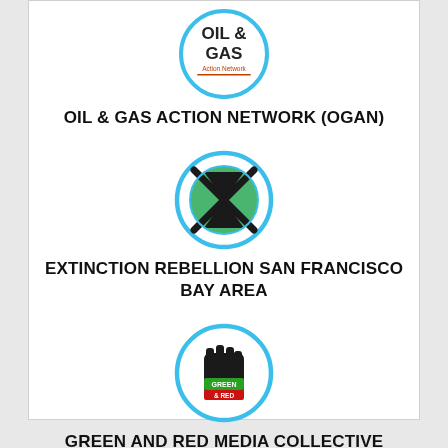[Figure (logo): Oil & Gas Action Network circular logo with blue border, text OIL & GAS in bold with 'Action Network' below]
OIL & GAS ACTION NETWORK (OGAN)
[Figure (logo): Extinction Rebellion hourglass on Earth globe circular logo with blue border and black X]
EXTINCTION REBELLION SAN FRANCISCO BAY AREA
[Figure (logo): Green and Red Media Collective circular logo with blue border, black raised fist with GREEN & RED text]
GREEN AND RED MEDIA COLLECTIVE
Berkeley, CA